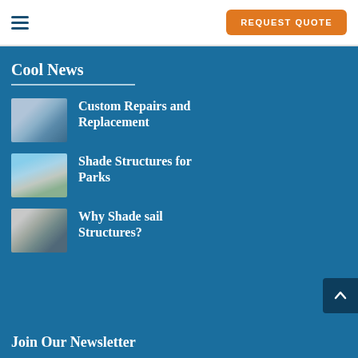REQUEST QUOTE
Cool News
Custom Repairs and Replacement
Shade Structures for Parks
Why Shade sail Structures?
Join Our Newsletter